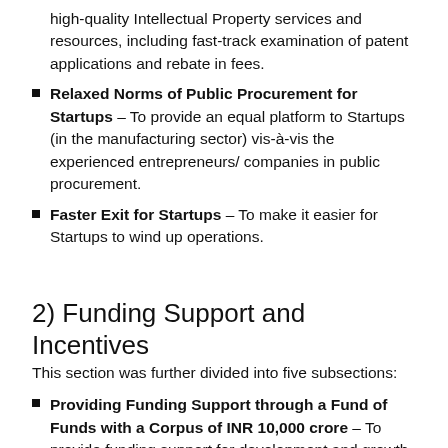high-quality Intellectual Property services and resources, including fast-track examination of patent applications and rebate in fees.
Relaxed Norms of Public Procurement for Startups – To provide an equal platform to Startups (in the manufacturing sector) vis-à-vis the experienced entrepreneurs/ companies in public procurement.
Faster Exit for Startups – To make it easier for Startups to wind up operations.
2) Funding Support and Incentives
This section was further divided into five subsections:
Providing Funding Support through a Fund of Funds with a Corpus of INR 10,000 crore – To provide funding support for development and growth of innovation-